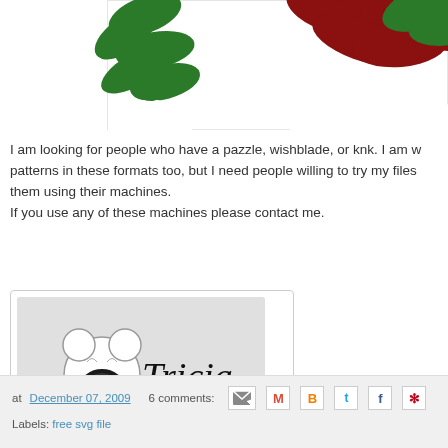[Figure (illustration): Partial view of a Christmas holly decoration illustration with green leaves and dark red berries at the top of the page]
I am looking for people who have a pazzle, wishblade, or knk. I am w… patterns in these formats too, but I need people willing to try my files… them using their machines.
If you use any of these machines please contact me.
[Figure (illustration): Signature image showing a cartoon bear with 'Tricia' written in cursive script on a grey background]
at December 07, 2009   6 comments:
Labels: free svg file